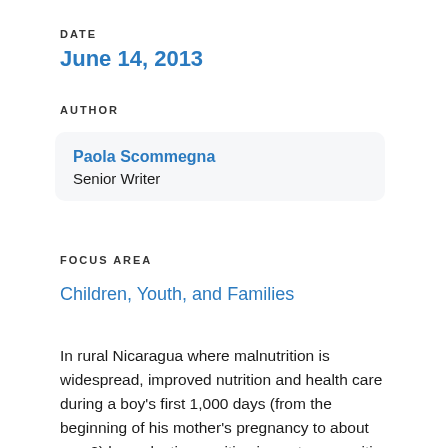DATE
June 14, 2013
AUTHOR
Paola Scommegna
Senior Writer
FOCUS AREA
Children, Youth, and Families
In rural Nicaragua where malnutrition is widespread, improved nutrition and health care during a boy's first 1,000 days (from the beginning of his mother's pregnancy to about age 2) has a lasting positive impact on cognitive development and learning, new research finds.